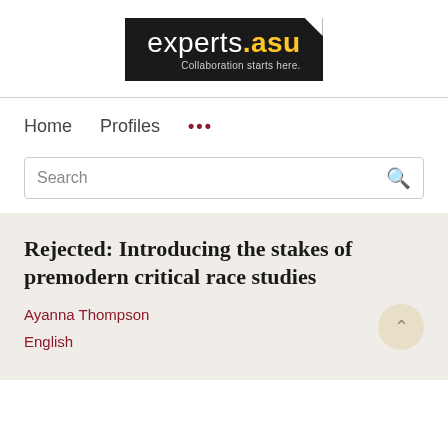[Figure (logo): experts.asu logo with tagline 'Collaboration starts here.' on black background]
Home   Profiles   ...
Search
Rejected: Introducing the stakes of premodern critical race studies
Ayanna Thompson
English